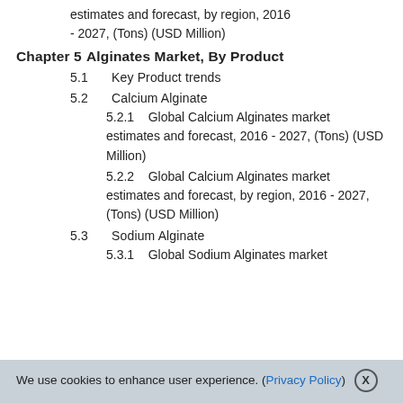estimates and forecast, by region, 2016 - 2027, (Tons) (USD Million)
Chapter 5   Alginates Market, By Product
5.1   Key Product trends
5.2   Calcium Alginate
5.2.1   Global Calcium Alginates market estimates and forecast, 2016 - 2027, (Tons) (USD Million)
5.2.2   Global Calcium Alginates market estimates and forecast, by region, 2016 - 2027, (Tons) (USD Million)
5.3   Sodium Alginate
5.3.1   Global Sodium Alginates market
We use cookies to enhance user experience. (Privacy Policy) X